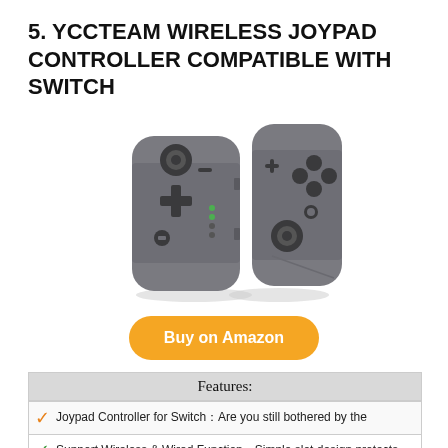5. YCCTEAM WIRELESS JOYPAD CONTROLLER COMPATIBLE WITH SWITCH
[Figure (photo): Two gray wireless joypad controllers compatible with Nintendo Switch, shown from front and back angles]
Buy on Amazon
| Features: |
| --- |
| Joypad Controller for Switch：Are you still bothered by the |
| Support Wireless & Wired Function：Simple slot design protects |
| Double Shock & Motion Control Function：Switch Joypad |
|  |